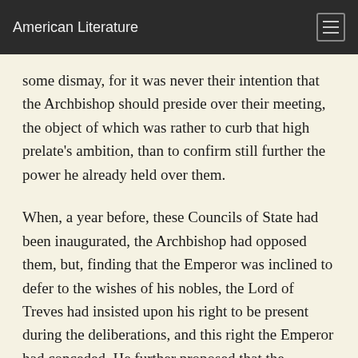American Literature
some dismay, for it was never their intention that the Archbishop should preside over their meeting, the object of which was rather to curb that high prelate's ambition, than to confirm still further the power he already held over them.
When, a year before, these Councils of State had been inaugurated, the Archbishop had opposed them, but, finding that the Emperor was inclined to defer to the wishes of his nobles, the Lord of Treves had insisted upon his right to be present during the deliberations, and this right the Emperor had conceded. He further proposed that the meeting should be held at his own castle of Cochem, as